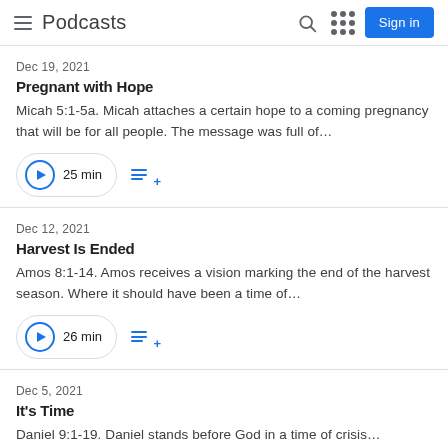Podcasts
Dec 19, 2021
Pregnant with Hope
Micah 5:1-5a. Micah attaches a certain hope to a coming pregnancy that will be for all people. The message was full of…
25 min
Dec 12, 2021
Harvest Is Ended
Amos 8:1-14. Amos receives a vision marking the end of the harvest season. Where it should have been a time of…
26 min
Dec 5, 2021
It's Time
Daniel 9:1-19. Daniel stands before God in a time of crisis…